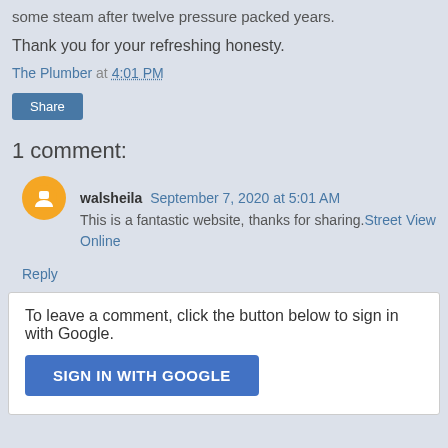some steam after twelve pressure packed years.
Thank you for your refreshing honesty.
The Plumber at 4:01 PM
Share
1 comment:
walsheila September 7, 2020 at 5:01 AM
This is a fantastic website, thanks for sharing.Street View Online
Reply
To leave a comment, click the button below to sign in with Google.
SIGN IN WITH GOOGLE